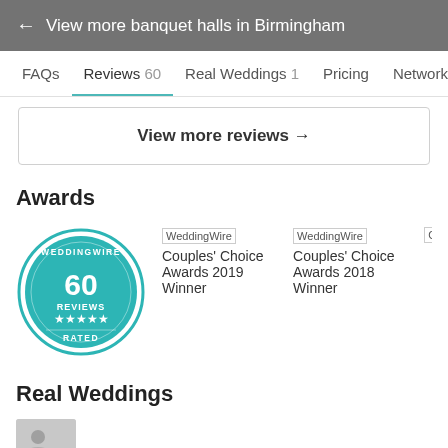← View more banquet halls in Birmingham
FAQs
Reviews 60
Real Weddings 1
Pricing
Network
View more reviews →
Awards
[Figure (logo): WeddingWire circular badge showing 60 Reviews, 5 stars, Rated]
WeddingWire Couples' Choice Awards 2019 Winner
WeddingWire Couples' Choice Awards 2018 Winner
Real Weddings